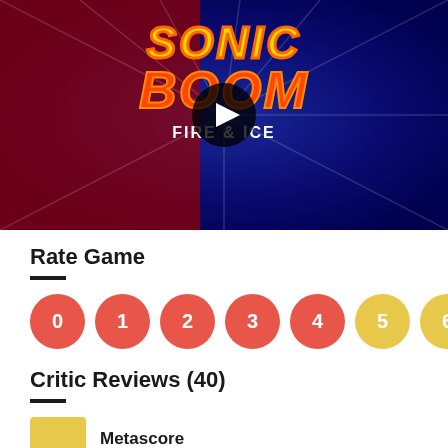[Figure (screenshot): Sonic Boom Fire & Ice game promotional image with characters running, featuring a play button overlay in the center]
Rate Game
[Figure (infographic): Rating circles numbered 0 through 6, with 0-4 in red and 5-6 in yellow]
Critic Reviews (40)
[Figure (infographic): Yellow Metascore box followed by Metascore label]